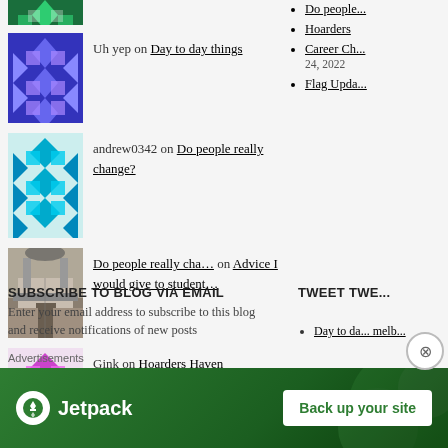Uh yep on Day to day things
andrew0342 on Do people really change?
Do people really cha… on Advice I would give to student…
Gink on Hoarders Haven
Do people really...
Hoarders
Career Ch... 24, 2022
Flag Upda...
SUBSCRIBE TO BLOG VIA EMAIL
Enter your email address to subscribe to this blog and receive notifications of new posts
TWEET TWE...
Day to da... melb...
Advertisements
[Figure (logo): Jetpack advertisement banner with logo and 'Back up your site' button on green background]